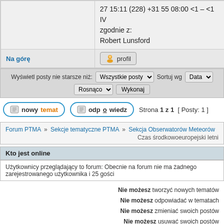|  |  |
| --- | --- |
|  | 27 15:11 (228) +31 55 08:00 <1 – <1 IV
zgodnie z:
Robert Lunsford |
| Na górę | profil |
Wyświetl posty nie starsze niż: Wszystkie posty ▼  Sortuj wg  Data ▼  Rosnąco ▼  Wykonaj
nowy temat   odpowiedz   Strona 1 z 1  [ Posty: 1 ]
Forum PTMA » Sekcje tematyczne PTMA » Sekcja Obserwatorów Meteorów
Czas środkowoeuropejski letni
Kto jest online
Użytkownicy przeglądający to forum: Obecnie na forum nie ma żadnego zarejestrowanego użytkownika i 25 gości
Nie możesz tworzyć nowych tematów
Nie możesz odpowiadać w tematach
Nie możesz zmieniać swoich postów
Nie możesz usuwać swoich postów
Nie możesz dodawać załączników
Szukaj:
Przejdź do:  Sekcja Obserwatorów Meteorów